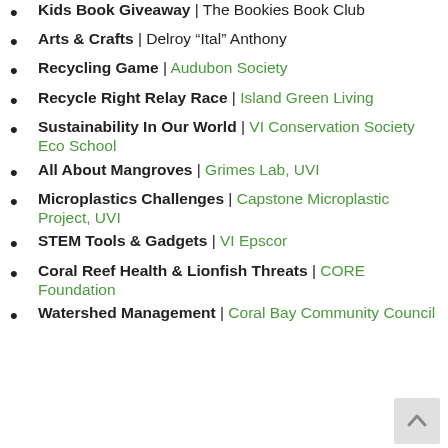Kids Book Giveaway | The Bookies Book Club
Arts & Crafts | Delroy "Ital" Anthony
Recycling Game | Audubon Society
Recycle Right Relay Race | Island Green Living
Sustainability In Our World | VI Conservation Society Eco School
All About Mangroves | Grimes Lab, UVI
Microplastics Challenges | Capstone Microplastic Project, UVI
STEM Tools & Gadgets | VI Epscor
Coral Reef Health & Lionfish Threats | CORE Foundation
Watershed Management | Coral Bay Community Council